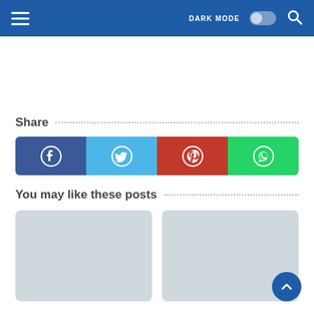[Figure (screenshot): Navigation header bar with blue background, hamburger menu icon on left, DARK MODE toggle and search icon on right]
Share
[Figure (infographic): Social share buttons row: Facebook (dark blue), Twitter (light blue), Pinterest (red), WhatsApp (green), each with white icon]
You may like these posts
[Figure (photo): Gray placeholder card for a related post]
[Figure (photo): Gray placeholder card for a related post]